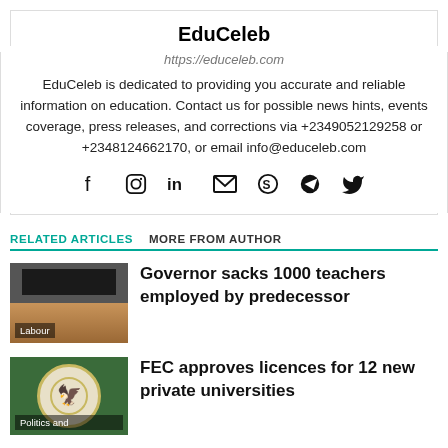EduCeleb
https://educeleb.com
EduCeleb is dedicated to providing you accurate and reliable information on education. Contact us for possible news hints, events coverage, press releases, and corrections via +2349052129258 or +2348124662170, or email info@educeleb.com
[Figure (infographic): Social media icons: Facebook, Instagram, LinkedIn, Email, Skype, Telegram, Twitter]
RELATED ARTICLES
MORE FROM AUTHOR
[Figure (photo): Classroom with rows of wooden chairs and a blackboard, labelled Labour]
Governor sacks 1000 teachers employed by predecessor
[Figure (photo): Nigerian coat of arms / government logo, labelled Politics and]
FEC approves licences for 12 new private universities